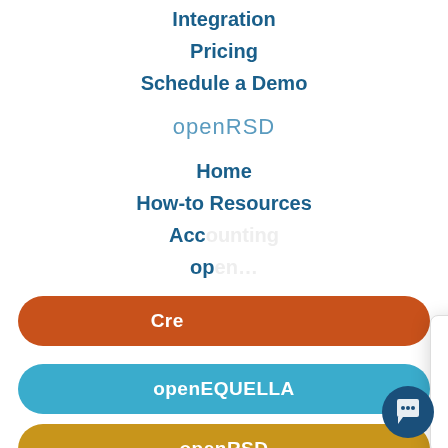Integration
Pricing
Schedule a Demo
openRSD
Home
How-to Resources
Acc…
op…
[Figure (screenshot): Chat popup widget with logo E and text: Have questions? I'm here to help! Type your query below to get started. With a close (×) button.]
Cre…
openEQUELLA
openRSD